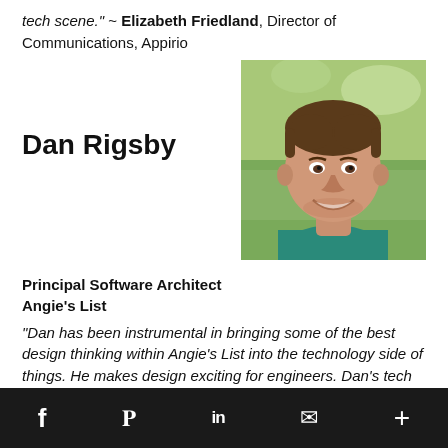tech scene." ~ Elizabeth Friedland, Director of Communications, Appirio
Dan Rigsby
[Figure (photo): Headshot photo of Dan Rigsby, a smiling man in a teal shirt outdoors with green foliage background]
Principal Software Architect
Angie’s List
“Dan has been instrumental in bringing some of the best design thinking within Angie’s List into the technology side of things. He makes design exciting for engineers. Dan’s tech knowledge is rivaled only by his passion for
f  🐦  in  ✉  +